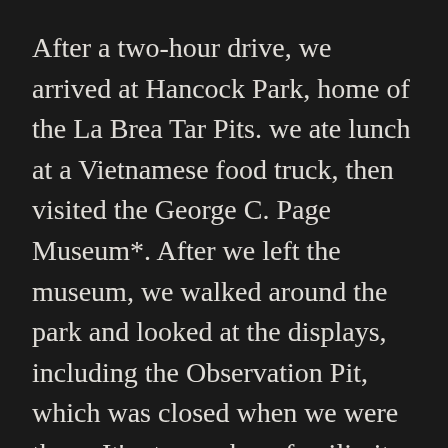After a two-hour drive, we arrived at Hancock Park, home of the La Brea Tar Pits. we ate lunch at a Vietnamese food truck, then visited the George C. Page Museum*. After we left the museum, we walked around the park and looked at the displays, including the Observation Pit, which was closed when we were there. It's strange how familiarity can change the way something looks. I swear that Hancock Park has changed a lot since our 1996 visit, but I couldn't tell you exactly how it's changed.
Back in the days when Thomas and I used to meet up with friends in Los Angeles, we'd stay at the Sportsmen's Lodge and would frequently